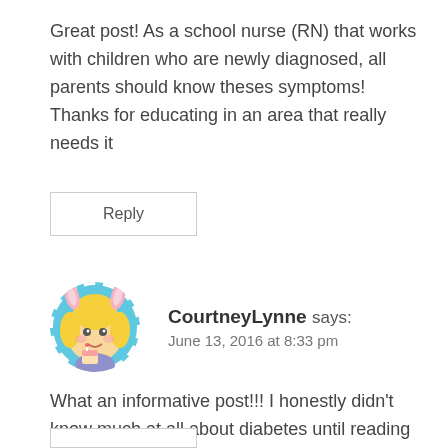Great post! As a school nurse (RN) that works with children who are newly diagnosed, all parents should know theses symptoms! Thanks for educating in an area that really needs it
Reply
[Figure (illustration): Circular avatar image of a cartoon blonde girl with pink rabbit ears, holding a small cake, with a blue and white circular background]
CourtneyLynne says:
June 13, 2016 at 8:33 pm
What an informative post!!! I honestly didn't know much at all about diabetes until reading this!